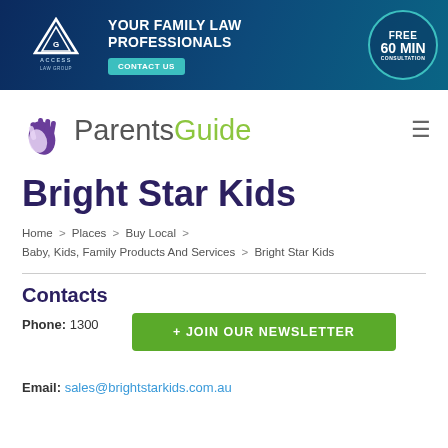[Figure (infographic): Access Law Group banner ad: 'YOUR FAMILY LAW PROFESSIONALS' with CONTACT US button and FREE 60 MIN CONSULTATION circle]
Parents Guide
Bright Star Kids
Home > Places > Buy Local > Baby, Kids, Family Products And Services > Bright Star Kids
Contacts
Phone: 1300...
Email: sales@brightstarkids.com.au